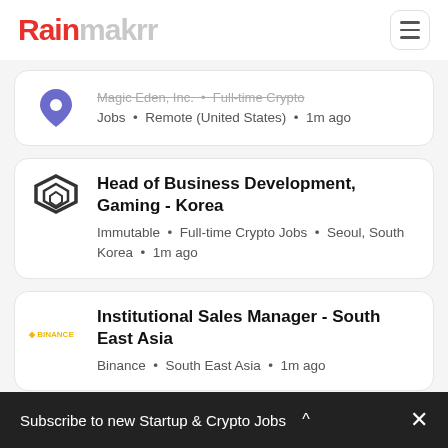Rainmakrr
Magic Eden, Inc. • Full-time Crypto Jobs • Remote (United States) • 1m ago
Head of Business Development, Gaming - Korea
Immutable • Full-time Crypto Jobs • Seoul, South Korea • 1m ago
Institutional Sales Manager - South East Asia
Binance • South East Asia • 1m ago
Subscribe to new Startup & Crypto Jobs